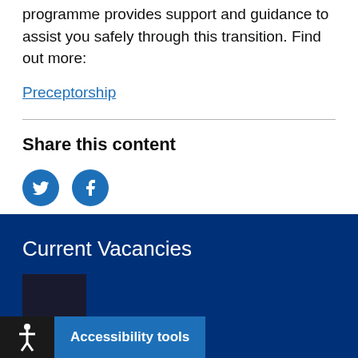programme provides support and guidance to assist you safely through this transition. Find out more:
Preceptorship
Share this content
[Figure (infographic): Two circular social media share buttons: Twitter (bird icon) and Facebook (f icon), both in blue (#1d70b8)]
Current Vacancies
[Figure (infographic): Dark thumbnail image placeholder at bottom left of footer]
Accessibility tools